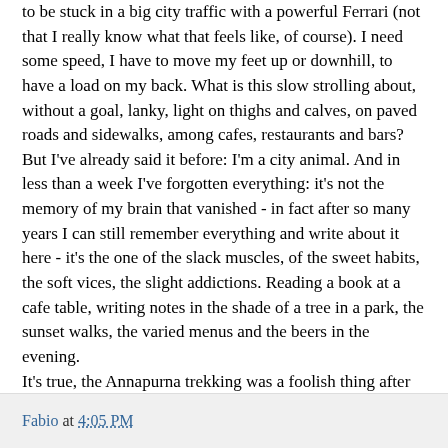to be stuck in a big city traffic with a powerful Ferrari (not that I really know what that feels like, of course). I need some speed, I have to move my feet up or downhill, to have a load on my back. What is this slow strolling about, without a goal, lanky, light on thighs and calves, on paved roads and sidewalks, among cafes, restaurants and bars? But I've already said it before: I'm a city animal. And in less than a week I've forgotten everything: it's not the memory of my brain that vanished - in fact after so many years I can still remember everything and write about it here - it's the one of the slack muscles, of the sweet habits, the soft vices, the slight addictions. Reading a book at a cafe table, writing notes in the shade of a tree in a park, the sunset walks, the varied menus and the beers in the evening. It's true, the Annapurna trekking was a foolish thing after all. A stirring, surprising and fleeting foolish thing.
Photo by MikeBehnken (CC)
Fabio at 4:05 PM